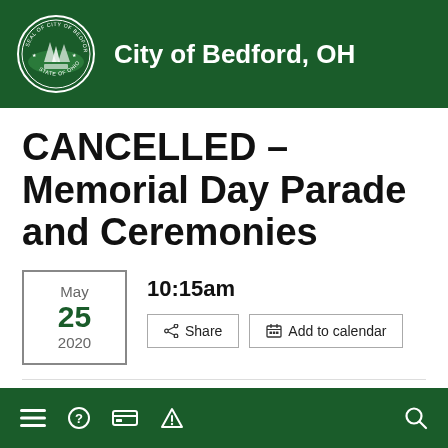City of Bedford, OH
CANCELLED – Memorial Day Parade and Ceremonies
May 25 2020
10:15am
Share
Add to calendar
Navigation footer icons: menu, help, payment, alert, search